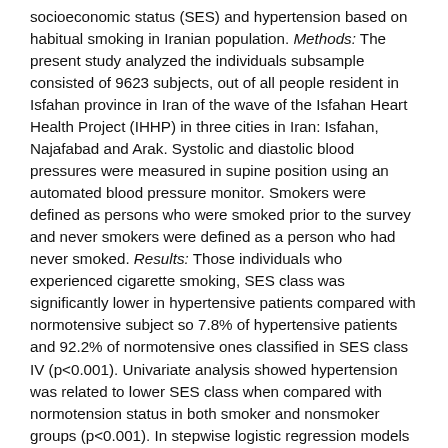socioeconomic status (SES) and hypertension based on habitual smoking in Iranian population. Methods: The present study analyzed the individuals subsample consisted of 9623 subjects, out of all people resident in Isfahan province in Iran of the wave of the Isfahan Heart Health Project (IHHP) in three cities in Iran: Isfahan, Najafabad and Arak. Systolic and diastolic blood pressures were measured in supine position using an automated blood pressure monitor. Smokers were defined as persons who were smoked prior to the survey and never smokers were defined as a person who had never smoked. Results: Those individuals who experienced cigarette smoking, SES class was significantly lower in hypertensive patients compared with normotensive subject so 7.8% of hypertensive patients and 92.2% of normotensive ones classified in SES class IV (p<0.001). Univariate analysis showed hypertension was related to lower SES class when compared with normotension status in both smoker and nonsmoker groups (p<0.001). In stepwise logistic regression models adjusting sex, age, global dietary index and leisure time physical activity, hypertension could be predicted by lower SES in nonsmoker group, while this predictive role for SES could not be reveal in smoker group. Conclusion: The significant SES-smoking association may determinate in the increasing blood pressure even adjusted for other covariates such as demographics as well as dietary behaviors and leisure time physical activity.